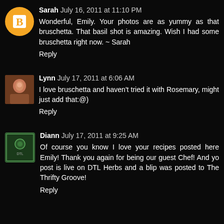[Figure (photo): Blogger avatar icon - orange circle with white B letter]
Sarah July 16, 2011 at 11:10 PM
Wonderful, Emily. Your photos are as yummy as that bruschetta. That basil shot is amazing. Wish I had some bruschetta right now. ~ Sarah
Reply
[Figure (photo): Lynn's avatar - small photo of a person]
Lynn July 17, 2011 at 6:06 AM
I love bruschetta and haven't tried it with Rosemary, might just add that:@)
Reply
[Figure (photo): Diann's avatar - green bordered icon with text/logo]
Diann July 17, 2011 at 9:25 AM
Of course you know I love your recipes posted here Emily! Thank you again for being our guest Chef! And yo post is live on DTL Herbs and a blip was posted to The Thrifty Groove!
Reply